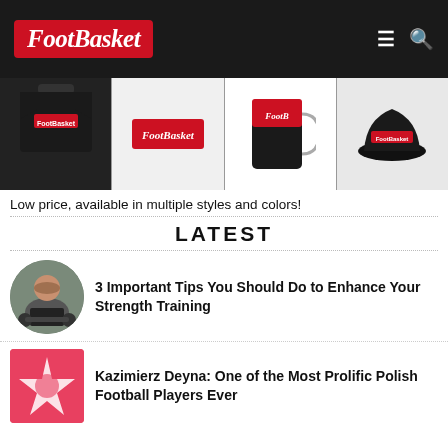FootBasket
[Figure (photo): Four FootBasket branded merchandise items: black long-sleeve shirt, red/white logo badge, black coffee mug, black hat]
Low price, available in multiple styles and colors!
LATEST
[Figure (photo): Circular thumbnail of a muscular man doing strength training with weights]
3 Important Tips You Should Do to Enhance Your Strength Training
[Figure (photo): Rectangular thumbnail with red background showing a Polish football emblem/crest]
Kazimierz Deyna: One of the Most Prolific Polish Football Players Ever